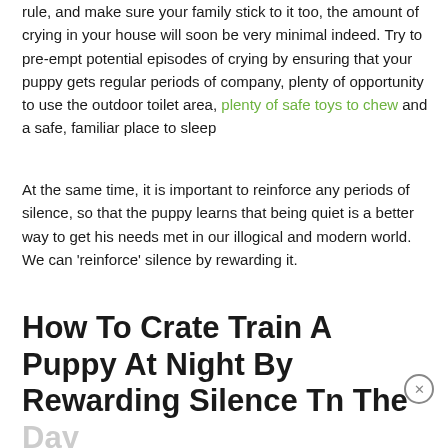rule, and make sure your family stick to it too, the amount of crying in your house will soon be very minimal indeed. Try to pre-empt potential episodes of crying by ensuring that your puppy gets regular periods of company, plenty of opportunity to use the outdoor toilet area, plenty of safe toys to chew and a safe, familiar place to sleep
At the same time, it is important to reinforce any periods of silence, so that the puppy learns that being quiet is a better way to get his needs met in our illogical and modern world. We can 'reinforce' silence by rewarding it.
How To Crate Train A Puppy At Night By Rewarding Silence Tn The Day